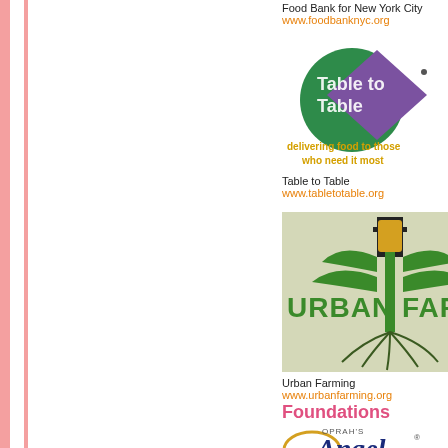Food Bank for New York City
www.foodbanknyc.org
[Figure (logo): Table to Table logo with tagline 'delivering food to those who need it most']
Table to Table
www.tabletotable.org
[Figure (logo): Urban Farming logo with corn stalk growing from city skyline]
Urban Farming
www.urbanfarming.org
Foundations
[Figure (logo): Oprah's Angel Network logo]